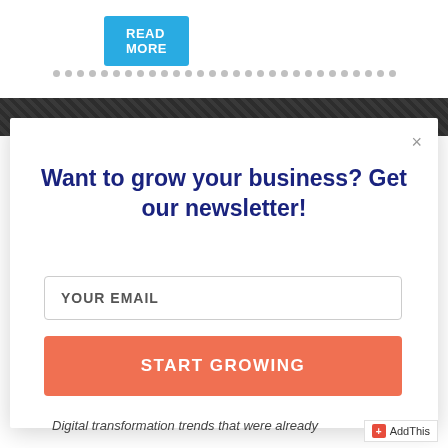READ MORE
[Figure (other): Pagination dots row]
[Figure (photo): Dark background image strip]
×
Want to grow your business? Get our newsletter!
YOUR EMAIL
START GROWING
Digital transformation trends that were already
+ AddThis